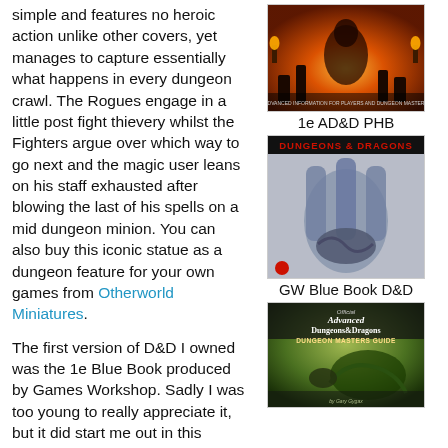simple and features no heroic action unlike other covers, yet manages to capture essentially what happens in every dungeon crawl.  The Rogues engage in a little post fight thievery whilst the Fighters argue over which way to go next and the magic user leans on his staff exhausted after blowing the last of his spells on a mid dungeon minion.  You can also buy this iconic statue as a dungeon feature for your own games from Otherworld Miniatures.
[Figure (photo): Cover of 1e AD&D Player's Handbook showing adventurers around a fire/demon statue in warm tones]
1e AD&D PHB
[Figure (photo): Cover of Dungeons & Dragons GW Blue Book showing a large blue/grey hand-like figure with a dragon, title DUNGEONS & DRAGONS in red at top]
GW Blue Book D&D
The first version of D&D I owned was the 1e Blue Book produced by Games Workshop.  Sadly I was too young to really appreciate it, but it did start me out in this wonderful hobby.  Looking at the artwork, although a beautiful piece of pen and ink, it's not exactly evocative of
[Figure (photo): Cover of Advanced Dungeons & Dragons Dungeon Masters Guide showing a green-toned fantasy scene with a dragon]